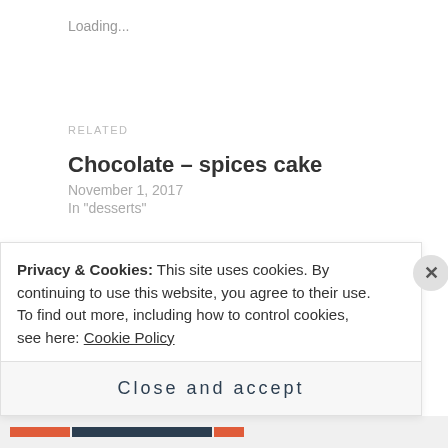Loading...
RELATED
Chocolate – spices cake
November 1, 2017
In "desserts"
Chocolate cake
October 24, 2016
In "desserts"
Banana bread with olive oil
Privacy & Cookies: This site uses cookies. By continuing to use this website, you agree to their use.
To find out more, including how to control cookies, see here: Cookie Policy
Close and accept